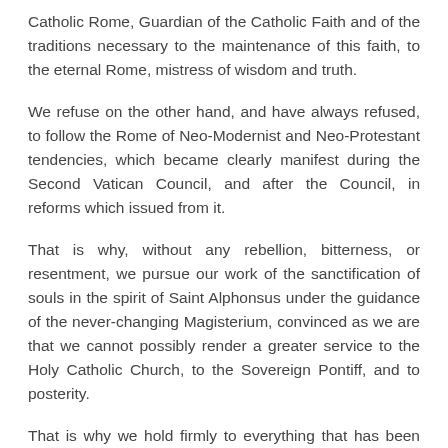Catholic Rome, Guardian of the Catholic Faith and of the traditions necessary to the maintenance of this faith, to the eternal Rome, mistress of wisdom and truth.
We refuse on the other hand, and have always refused, to follow the Rome of Neo-Modernist and Neo-Protestant tendencies, which became clearly manifest during the Second Vatican Council, and after the Council, in reforms which issued from it.
That is why, without any rebellion, bitterness, or resentment, we pursue our work of the sanctification of souls in the spirit of Saint Alphonsus under the guidance of the never-changing Magisterium, convinced as we are that we cannot possibly render a greater service to the Holy Catholic Church, to the Sovereign Pontiff, and to posterity.
That is why we hold firmly to everything that has been consistently taught and practiced by the Church (and codified in books published before the Modernist influence of the Council) concerning faith, morals, divine worship, catechetics, priestly formation, and the institution of the